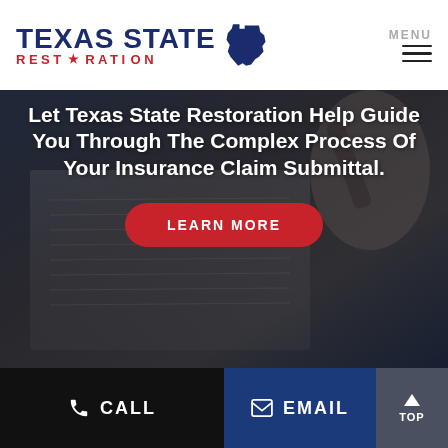[Figure (logo): Texas State Restoration logo with blue bold text 'TEXAS STATE' and red text 'RESTORATION' with star, and Texas state silhouette]
[Figure (photo): Background photo of hands signing a document/insurance form on a clipboard, dark overlay applied]
Let Texas State Restoration Help Guide You Through The Complex Process Of Your Insurance Claim Submittal.
LEARN MORE
CALL
EMAIL
TOP